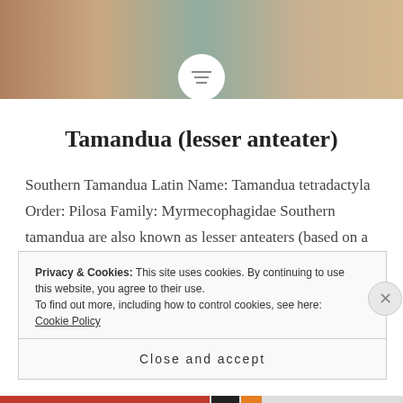[Figure (photo): Animal photo banner at top of page, warm brown and teal tones, showing a tamandua or similar animal]
Tamandua (lesser anteater)
Southern Tamandua Latin Name: Tamandua tetradactyla Order: Pilosa Family: Myrmecophagidae Southern tamandua are also known as lesser anteaters (based on a comparison to Giant Anteaters) and collared anteaters/tamandua (due to their standard coloration of a dark patch of fur in a collar shape on their back). There is a
Privacy & Cookies: This site uses cookies. By continuing to use this website, you agree to their use.
To find out more, including how to control cookies, see here: Cookie Policy
Close and accept